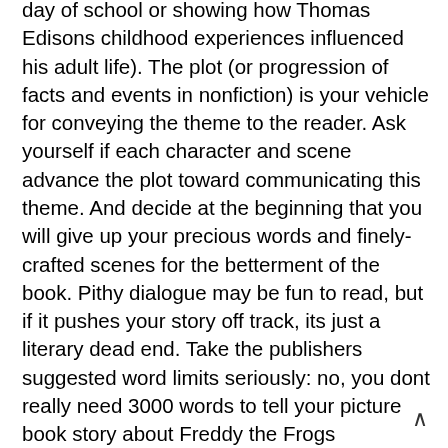day of school or showing how Thomas Edisons childhood experiences influenced his adult life). The plot (or progression of facts and events in nonfiction) is your vehicle for conveying the theme to the reader. Ask yourself if each character and scene advance the plot toward communicating this theme. And decide at the beginning that you will give up your precious words and finely-crafted scenes for the betterment of the book. Pithy dialogue may be fun to read, but if it pushes your story off track, its just a literary dead end. Take the publishers suggested word limits seriously: no, you dont really need 3000 words to tell your picture book story about Freddy the Frogs adventures in the Big Pond.